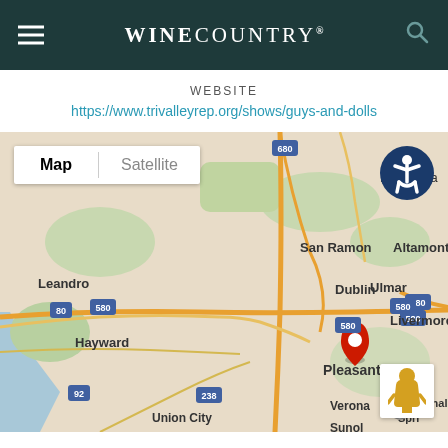WINECOUNTRY®
WEBSITE
https://www.trivalleyrep.org/shows/guys-and-dolls
[Figure (map): Google Map showing the Pleasanton/Dublin/San Ramon area of California with a red location pin dropped on Pleasanton. Map shows surrounding cities including Leandro, Hayward, Union City, Livermore, Ulmar, Altamont, San Ramon, Dublin, Verona, Sunol, Mendenhall Spri. Roads including I-580, I-680, I-80, SR-92, SR-238, SR-84 are visible. Map/Satellite toggle buttons in top left, accessibility icon in top right, street view pegman in bottom right.]